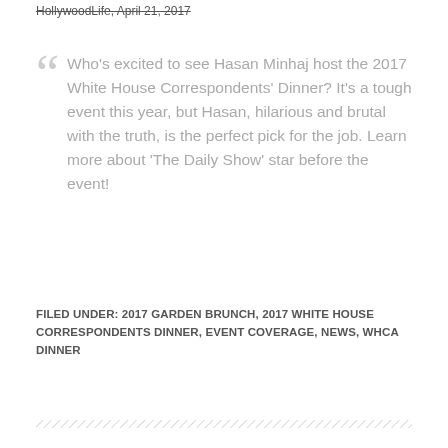HollywoodLife, April 21, 2017
Who's excited to see Hasan Minhaj host the 2017 White House Correspondents' Dinner? It's a tough event this year, but Hasan, hilarious and brutal with the truth, is the perfect pick for the job. Learn more about ‘The Daily Show’ star before the event!
FILED UNDER: 2017 GARDEN BRUNCH, 2017 WHITE HOUSE CORRESPONDENTS DINNER, EVENT COVERAGE, NEWS, WHCA DINNER